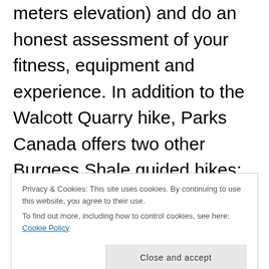meters elevation) and do an honest assessment of your fitness, equipment and experience. In addition to the Walcott Quarry hike, Parks Canada offers two other Burgess Shale guided hikes: Mount Stephen Fossil Bed in Yoho National Park and Stanley Glacier in Kootenay National Park. The Burgess Shale Geoscience Foundation also offers two other Burgess Shale hikes: Mount Stephen Fossil Beds and a Climate Change hike along the Iceline Trail (also in addition to a
Privacy & Cookies: This site uses cookies. By continuing to use this website, you agree to their use.
To find out more, including how to control cookies, see here: Cookie Policy
Close and accept
post on: Images seen after